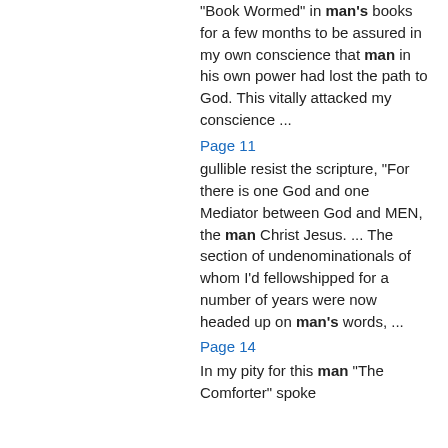“Book Wormed” in man’s books for a few months to be assured in my own conscience that man in his own power had lost the path to God. This vitally attacked my conscience ...
Page 11
gullible resist the scripture, “For there is one God and one Mediator between God and MEN, the man Christ Jesus. ... The section of undenominationals of whom I’d fellowshipped for a number of years were now headed up on man’s words, ...
Page 14
In my pity for this man “The Comforter” spoke